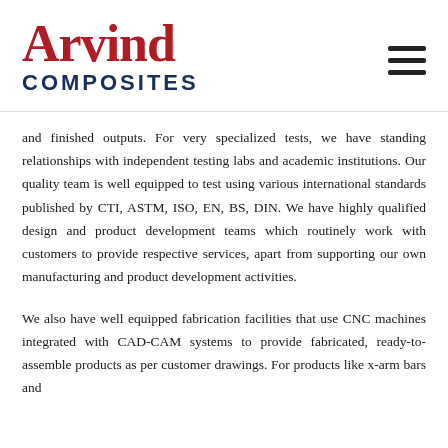[Figure (logo): Arvind Composites logo with red stylized 'Arvind' text and dark blue 'COMPOSITES' text below]
and finished outputs. For very specialized tests, we have standing relationships with independent testing labs and academic institutions. Our quality team is well equipped to test using various international standards published by CTI, ASTM, ISO, EN, BS, DIN. We have highly qualified design and product development teams which routinely work with customers to provide respective services, apart from supporting our own manufacturing and product development activities.
We also have well equipped fabrication facilities that use CNC machines integrated with CAD-CAM systems to provide fabricated, ready-to-assemble products as per customer drawings. For products like x-arm bars and